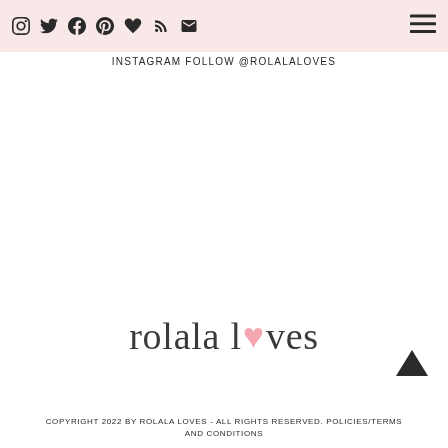nav icons: instagram, twitter, facebook, pinterest, heart/bloglovin, rss, email | hamburger menu
INSTAGRAM follow @rolalaloves
[Figure (logo): rolala loves blog logo with pink heart replacing the letter o in loves]
COPYRIGHT 2022 BY ROLALA LOVES - ALL RIGHTS RESERVED. POLICIES/TERMS AND CONDITIONS